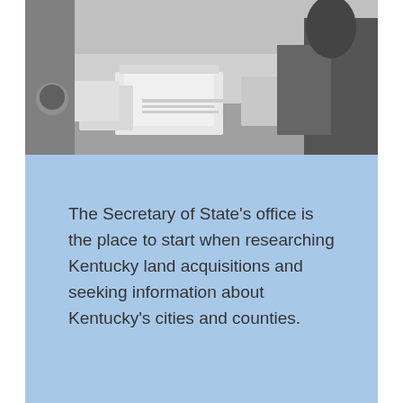[Figure (photo): Black and white photograph of a person at a desk with open books and papers, working or researching.]
The Secretary of State's office is the place to start when researching Kentucky land acquisitions and seeking information about Kentucky's cities and counties.
In Kentucky, land is allocated via the patenting process. The Kentucky Secretary of State's office is the repository for all records pertaining to patents issued within the Kentucky boundary, including those issued by the state of Virginia prior to Kentucky's statehood in 1792. This website contains